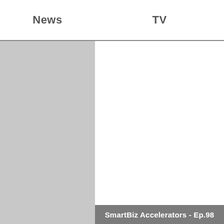| News | TV |
| --- | --- |
|  |
[Figure (other): Two-column layout with a gray left panel (News column) and white right panel (TV column), separated by a horizontal rule below the column headers.]
SmartBiz Accelerators - Ep.98